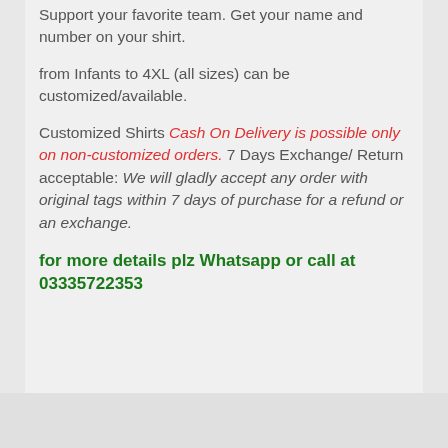Support your favorite team. Get your name and number on your shirt.
from Infants to 4XL (all sizes) can be customized/available.
Customized Shirts Cash On Delivery is possible only on non-customized orders. 7 Days Exchange/ Return acceptable: We will gladly accept any order with original tags within 7 days of purchase for a refund or an exchange.
for more details plz Whatsapp or call at 03335722353